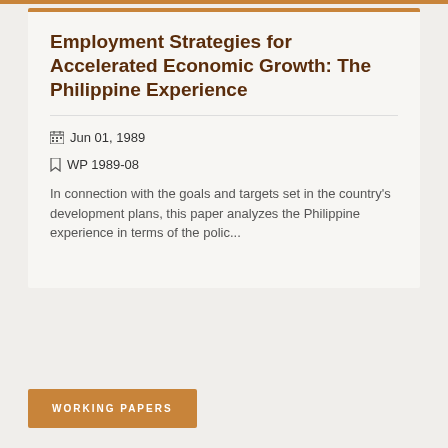Employment Strategies for Accelerated Economic Growth: The Philippine Experience
Jun 01, 1989
WP 1989-08
In connection with the goals and targets set in the country's development plans, this paper analyzes the Philippine experience in terms of the polic...
WORKING PAPERS